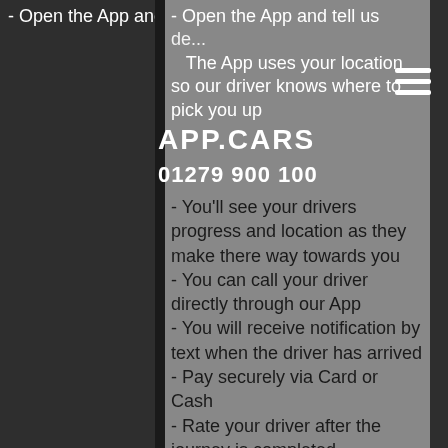APP CARS 01279 900 100
- Open the App and tell us your destination
- The App uses your location so our driver knows where to pick you up
- You'll see your drivers progress and location as they make there way towards you
- You can call your driver directly through our App
- You will receive notification by text when the driver has arrived
- Pay securely via Card or Cash
- Rate your driver after the journey is completed
- Don't forget to recommend your friends and family